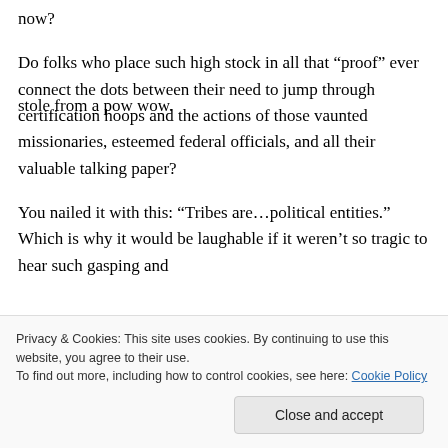now?
Do folks who place such high stock in all that “proof” ever connect the dots between their need to jump through certification hoops and the actions of those vaunted missionaries, esteemed federal officials, and all their valuable talking paper?
You nailed it with this: “Tribes are…political entities.” Which is why it would be laughable if it weren’t so tragic to hear such gasping and
Privacy & Cookies: This site uses cookies. By continuing to use this website, you agree to their use.
To find out more, including how to control cookies, see here: Cookie Policy
stole from a pow wow.